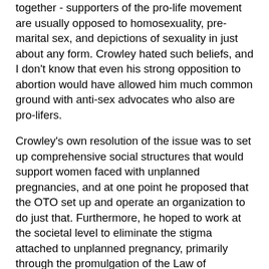together - supporters of the pro-life movement are usually opposed to homosexuality, pre-marital sex, and depictions of sexuality in just about any form. Crowley hated such beliefs, and I don't know that even his strong opposition to abortion would have allowed him much common ground with anti-sex advocates who also are pro-lifers.
Crowley's own resolution of the issue was to set up comprehensive social structures that would support women faced with unplanned pregnancies, and at one point he proposed that the OTO set up and operate an organization to do just that. Furthermore, he hoped to work at the societal level to eliminate the stigma attached to unplanned pregnancy, primarily through the promulgation of the Law of Thelema. Like many idealistic proposals, such a social system might work if the whole thing could be implemented at once, and if it could be shown to effectively reduce the demand for abortions I would be all for it. The problem is that politics doesn't usually work that way, and the OTO has never had anywhere near the funds controlled by fraternal groups like the Masons during Crowley's lifetime. Such a source of funds would be necessary for supporting such a